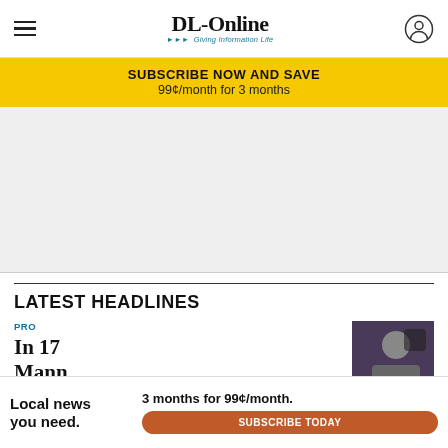DL-Online — Giving Information Life
SUBSCRIBE NOW AND SAVE
99¢/month for 3 months
[Figure (other): Advertisement placeholder (gray background)]
LATEST HEADLINES
PRO
In 17... Mann...
[Figure (photo): Sports photo thumbnail showing player with helmet]
Local news you need.  3 months for 99¢/month.  SUBSCRIBE TODAY